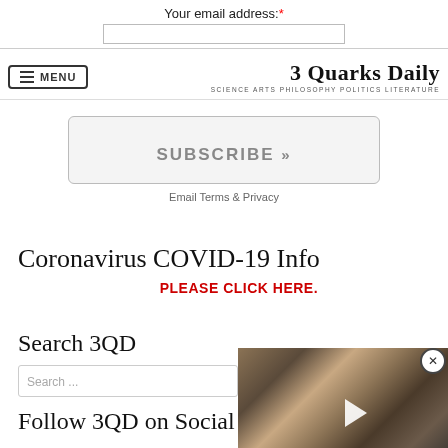Your email address:*
SUBSCRIBE »
Email Terms & Privacy
3 Quarks Daily
SCIENCE ARTS PHILOSOPHY POLITICS LITERATURE
Coronavirus COVID-19 Info
PLEASE CLICK HERE.
Search 3QD
Follow 3QD on Social
[Figure (photo): Video player overlay showing a close-up image of Jupiter's surface with a play button]